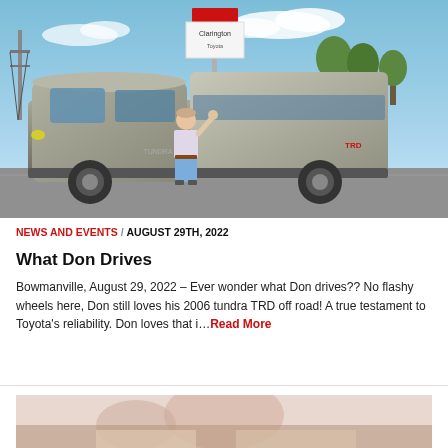[Figure (photo): Man standing next to a 2006 Toyota Tundra TRD truck in a dealership parking lot with a Clarington Toyota sign in the background. Man is giving thumbs up.]
NEWS AND EVENTS / AUGUST 29TH, 2022
What Don Drives
Bowmanville, August 29, 2022 – Ever wonder what Don drives?? No flashy wheels here, Don still loves his 2006 tundra TRD off road! A true testament to Toyota's reliability. Don loves that i…Read More
[Figure (photo): Partial photo visible at bottom of page showing a person, cropped.]